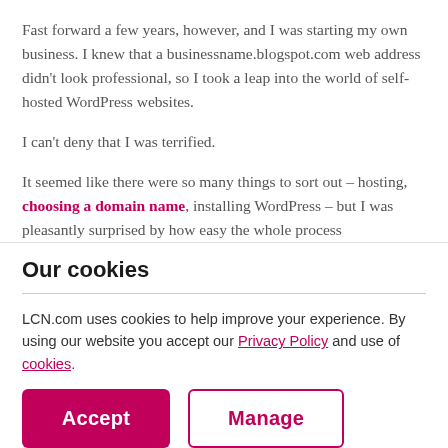Fast forward a few years, however, and I was starting my own business. I knew that a businessname.blogspot.com web address didn't look professional, so I took a leap into the world of self-hosted WordPress websites.
I can't deny that I was terrified.
It seemed like there were so many things to sort out – hosting, choosing a domain name, installing WordPress – but I was pleasantly surprised by how easy the whole process
Our cookies
LCN.com uses cookies to help improve your experience. By using our website you accept our Privacy Policy and use of cookies.